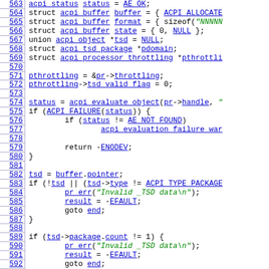[Figure (screenshot): Source code listing showing lines 563-592 of a C kernel file related to ACPI processor throttling TSD evaluation. Line numbers in left column, code in right column with syntax highlighting (blue for identifiers/links, green for string literals).]